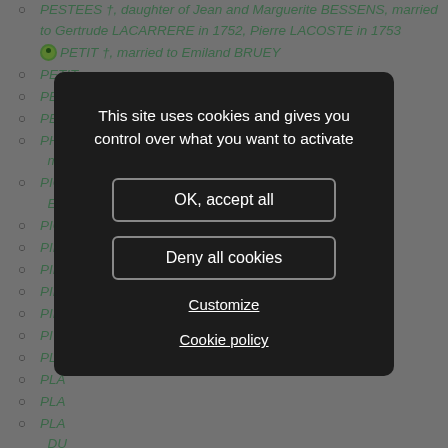PESTEES †, daughter of Jean and Marguerite BESSENS, married to Gertrude LACARRERE in 1752, Pierre LACOSTE in 1753
PETIT †, married to Emiland BRUEY
PETIT
PETIT †, married to Jean BERNY
PE...
PH... ...AS, ma...
PIC... ...rre Sernin ES...
PIC...
PIM...
PIN...
PIN...
PIN...
PIT...
PLA...
PLA...
PLA...
PLA... DU...
PO... ...ried to Jos...
PONS †, married to Pierre VILLES
PONS 1682-, daughter of Jean and Jeanne DELPUCH
PORTES (de) 1785-, married to Charles Raymond Louis de GALARD in 1803
POTUT (1794-1750), daughter of Jean and Françoise POIRAT...
[Figure (screenshot): Cookie consent modal dialog on a dark overlay. Text: 'This site uses cookies and gives you control over what you want to activate'. Buttons: 'OK, accept all', 'Deny all cookies'. Links: 'Customize', 'Cookie policy'.]